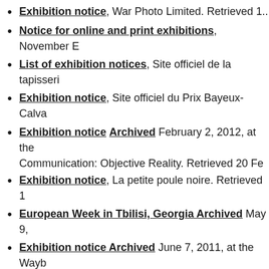Exhibition notice, War Photo Limited. Retrieved 1...
Notice for online and print exhibitions, November E...
List of exhibition notices, Site officiel de la tapisseri...
Exhibition notice, Site officiel du Prix Bayeux-Calva...
Exhibition notice Archived February 2, 2012, at the Communication: Objective Reality. Retrieved 20 Fe...
Exhibition notice, La petite poule noire. Retrieved 1...
European Week in Tbilisi, Georgia Archived May 9,...
Exhibition notice Archived June 7, 2011, at the Wayb... February 2012.
Exhibition notice, War Photo Limited. Retrieved 18 F...
Michel Puech, "Perpignan Visa pour l'Image 2011", L...
Exhibition notice, 10b photography gallery. Retriev...
"Palmares 2011 du Prix Bayeux - Calvados des corre...
20 September 2011. Retrieved 19 February 2012...